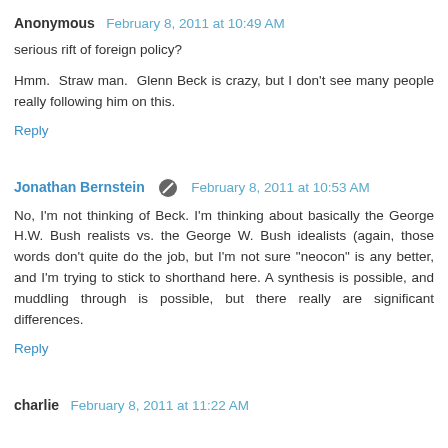Anonymous  February 8, 2011 at 10:49 AM
serious rift of foreign policy?
Hmm. Straw man. Glenn Beck is crazy, but I don't see many people really following him on this.
Reply
Jonathan Bernstein  February 8, 2011 at 10:53 AM
No, I'm not thinking of Beck. I'm thinking about basically the George H.W. Bush realists vs. the George W. Bush idealists (again, those words don't quite do the job, but I'm not sure "neocon" is any better, and I'm trying to stick to shorthand here. A synthesis is possible, and muddling through is possible, but there really are significant differences.
Reply
charlie  February 8, 2011 at 11:22 AM